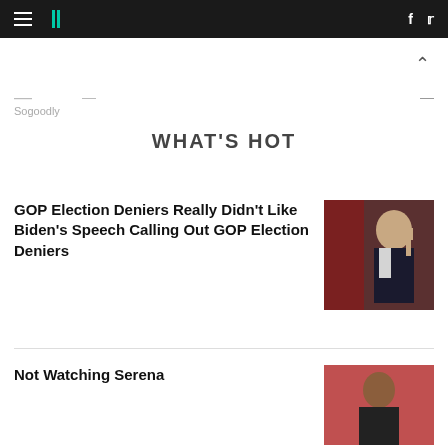HuffPost navigation bar with hamburger menu, logo, Facebook and Twitter icons
Sogoodly
WHAT'S HOT
GOP Election Deniers Really Didn't Like Biden's Speech Calling Out GOP Election Deniers
[Figure (photo): Photo of Joe Biden speaking, pointing finger, with American flag in background]
Not Watching Serena
[Figure (photo): Photo of a person, partially visible, cropped at bottom of page]